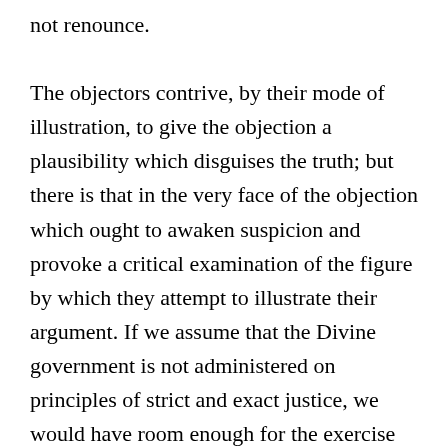not renounce.

The objectors contrive, by their mode of illustration, to give the objection a plausibility which disguises the truth; but there is that in the very face of the objection which ought to awaken suspicion and provoke a critical examination of the figure by which they attempt to illustrate their argument. If we assume that the Divine government is not administered on principles of strict and exact justice, we would have room enough for the exercise of mercy in the pardon of sin; but mercy thus extended would be at the sacrifice of justice. Or, if we take the ground that Christ did not suffer the penalty of the law, we might find scope for the dispensation of mercy in remitting the penalty of the law; but then we might be met with the question, “Do we then make void the law” through